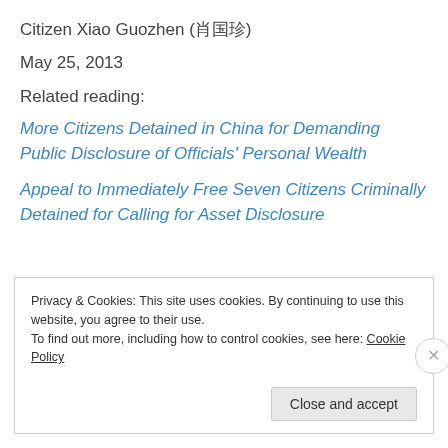Citizen Xiao Guozhen (肖国珍)
May 25, 2013
Related reading:
More Citizens Detained in China for Demanding Public Disclosure of Officials' Personal Wealth
Appeal to Immediately Free Seven Citizens Criminally Detained for Calling for Asset Disclosure
Privacy & Cookies: This site uses cookies. By continuing to use this website, you agree to their use.
To find out more, including how to control cookies, see here: Cookie Policy